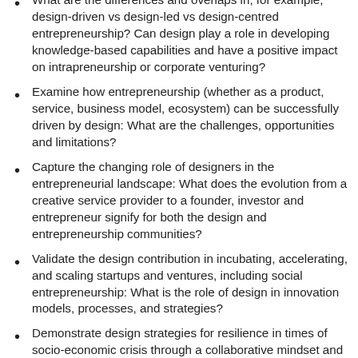What are the differences and overlaps in, for example, design-driven vs design-led vs design-centred entrepreneurship? Can design play a role in developing knowledge-based capabilities and have a positive impact on intrapreneurship or corporate venturing?
Examine how entrepreneurship (whether as a product, service, business model, ecosystem) can be successfully driven by design: What are the challenges, opportunities and limitations?
Capture the changing role of designers in the entrepreneurial landscape: What does the evolution from a creative service provider to a founder, investor and entrepreneur signify for both the design and entrepreneurship communities?
Validate the design contribution in incubating, accelerating, and scaling startups and ventures, including social entrepreneurship: What is the role of design in innovation models, processes, and strategies?
Demonstrate design strategies for resilience in times of socio-economic crisis through a collaborative mindset and opportunity-driven thinking: How does design contribute to resilient entrepreneurship by enabling agility, adaptability,